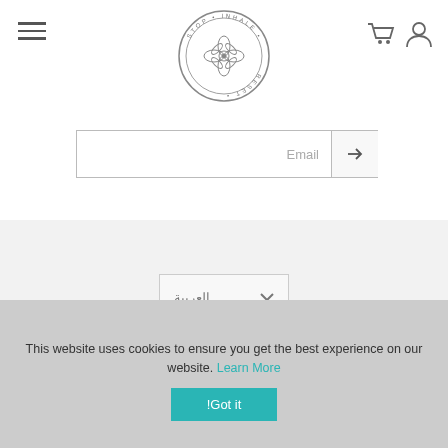[Figure (logo): Stop Inhale Reset circular logo with floral mandala design in the center, text around the circle reading STOP INHALE RESET]
[Figure (infographic): Email subscription input field with placeholder text 'Email' and an arrow button on the right]
[Figure (infographic): Language selector dropdown showing Arabic (العربية) with a chevron down arrow]
[Figure (infographic): Social media icons row: YouTube, Pinterest, Instagram, Facebook]
This website uses cookies to ensure you get the best experience on our website. Learn More
!Got it